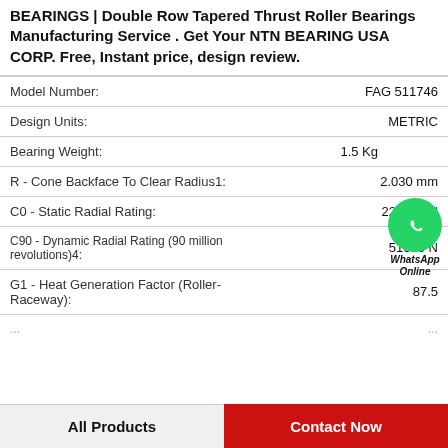BEARINGS | Double Row Tapered Thrust Roller Bearings Manufacturing Service . Get Your NTN BEARING USA CORP. Free, Instant price, design review.
| Property | Value |
| --- | --- |
| Model Number: | FAG 511746 |
| Design Units: | METRIC |
| Bearing Weight: | 1.5 Kg |
| R - Cone Backface To Clear Radius1: | 2.030 mm |
| C0 - Static Radial Rating: | 227000 N |
| C90 - Dynamic Radial Rating (90 million revolutions)4: | 51600 N |
| G1 - Heat Generation Factor (Roller-Raceway): | 87.5 |
| ... | ... |
[Figure (logo): WhatsApp Online contact button with green phone icon circle and italic bold text 'WhatsApp Online']
All Products    Contact Now